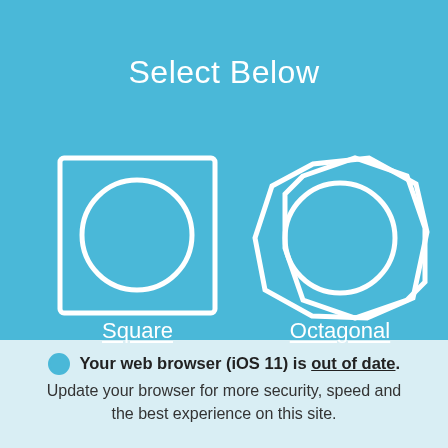Select Below
[Figure (illustration): Two white outlined icons on blue background: left is a square with a circle inside labeled 'Square'; right is an octagon with a circle inside labeled 'Octagonal']
Square
Octagonal
Your web browser (iOS 11) is out of date. Update your browser for more security, speed and the best experience on this site.